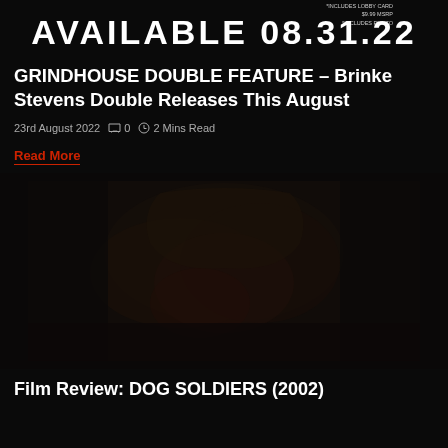[Figure (photo): Top banner showing partial text 'AVAILABLE' in large white uppercase letters on dark background, with small text overlay]
GRINDHOUSE DOUBLE FEATURE – Brinke Stevens Double Releases This August
23rd August 2022   0   2 Mins Read
Read More
[Figure (photo): Dark, moody image with dark reddish and brown tones, appears to show a horror-themed artwork or film still with organic shapes]
Film Review: DOG SOLDIERS (2002)